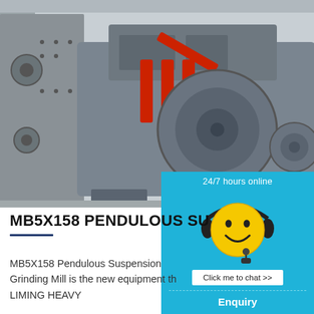[Figure (photo): Industrial hammer mill / pendulous suspension grinding mill machine on factory floor, painted grey with red hydraulic cylinders, surrounded by other heavy machinery]
[Figure (infographic): 24/7 hours online customer support widget with smiley face wearing headset, 'Click me to chat >>' button, Enquiry section, and email cywaitml@gmail.com]
MB5X158 PENDULOUS SU
MB5X158 Pendulous Suspension Grinding Mill is the new equipment th LIMING HEAVY